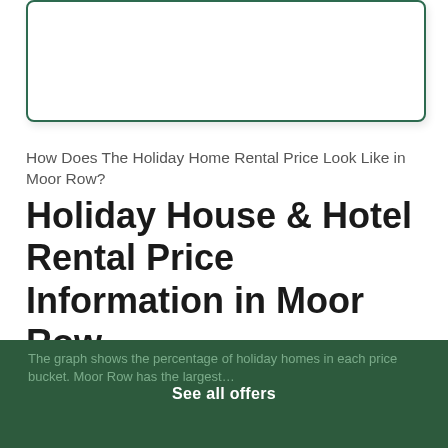[Figure (other): Rounded rectangle box with dark green border, empty white interior, drop shadow]
How Does The Holiday Home Rental Price Look Like in Moor Row?
Holiday House & Hotel Rental Price Information in Moor Row
The graph shows the percentage of holiday homes in each price bucket. Moor Row has the largest…
See all offers